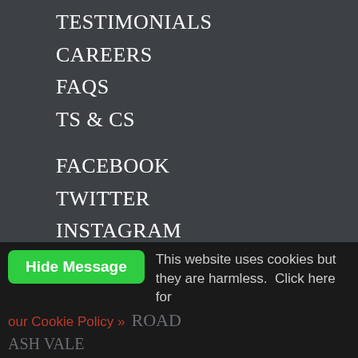TESTIMONIALS
CAREERS
FAQS
TS & CS
FACEBOOK
TWITTER
INSTAGRAM
PINTEREST
★★★★½ ON GOOGLE
JOIN OUR
MAILING LIST
This website uses cookies but they are harmless.  Click here for our Cookie Policy »